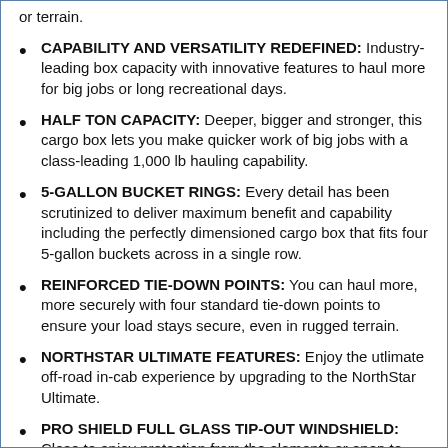or terrain.
CAPABILITY AND VERSATILITY REDEFINED: Industry-leading box capacity with innovative features to haul more for big jobs or long recreational days.
HALF TON CAPACITY: Deeper, bigger and stronger, this cargo box lets you make quicker work of big jobs with a class-leading 1,000 lb hauling capability.
5-GALLON BUCKET RINGS: Every detail has been scrutinized to deliver maximum benefit and capability including the perfectly dimensioned cargo box that fits four 5-gallon buckets across in a single row.
REINFORCED TIE-DOWN POINTS: You can haul more, more securely with four standard tie-down points to ensure your load stays secure, even in rugged terrain.
NORTHSTAR ULTIMATE FEATURES: Enjoy the utlimate off-road in-cab experience by upgrading to the NorthStar Ultimate.
PRO SHIELD FULL GLASS TIP-OUT WINDSHIELD: Close to enjoy protection from the elements or open to experience breeze and get an open-cab feel. Utilize